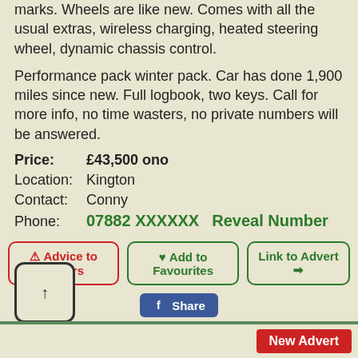marks. Wheels are like new. Comes with all the usual extras, wireless charging, heated steering wheel, dynamic chassis control.
Performance pack winter pack. Car has done 1,900 miles since new. Full logbook, two keys. Call for more info, no time wasters, no private numbers will be answered.
Price: £43,500 ono
Location: Kington
Contact: Conny
Phone: 07882 XXXXXX  Reveal Number
Advice to Buyers
Add to Favourites
Link to Advert
Share
New Advert